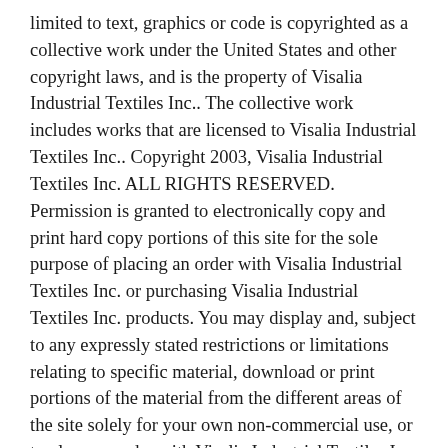limited to text, graphics or code is copyrighted as a collective work under the United States and other copyright laws, and is the property of Visalia Industrial Textiles Inc.. The collective work includes works that are licensed to Visalia Industrial Textiles Inc.. Copyright 2003, Visalia Industrial Textiles Inc. ALL RIGHTS RESERVED. Permission is granted to electronically copy and print hard copy portions of this site for the sole purpose of placing an order with Visalia Industrial Textiles Inc. or purchasing Visalia Industrial Textiles Inc. products. You may display and, subject to any expressly stated restrictions or limitations relating to specific material, download or print portions of the material from the different areas of the site solely for your own non-commercial use, or to place an order with Visalia Industrial Textiles Inc. or to purchase Visalia Industrial Textiles Inc. products. Any other use, including but not limited to the reproduction, distribution, display or transmission of the content of this site is strictly prohibited, unless authorized by Visalia Industrial Textiles Inc.. You further agree not to change or delete any proprietary notices from materials